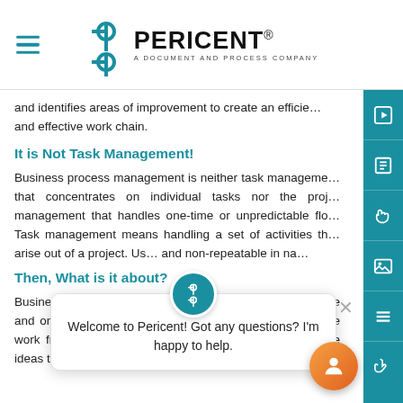PERICENT — A DOCUMENT AND PROCESS COMPANY
and identifies areas of improvement to create an efficient and effective work chain.
It is Not Task Management!
Business process management is neither task management that concentrates on individual tasks nor the project management that handles one-time or unpredictable flows. Task management means handling a set of activities that arise out of a project. Usually, these tasks are one-time and non-repeatable in nature.
Then, What is it about?
Business Process Management is focused more on repetitive and ongoing processes that follow a fixed model. The entire work frame is lined down right from implementation of the ideas to getting things done for the